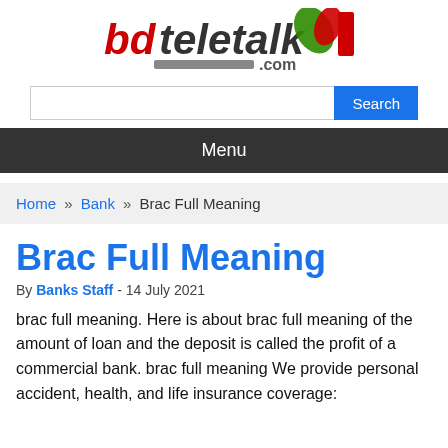[Figure (logo): bdteletalk Bank logo with red and green swoosh icon and grey bar with .com text]
Search
Menu
Home » Bank » Brac Full Meaning
Brac Full Meaning
By Banks Staff - 14 July 2021
brac full meaning. Here is about brac full meaning of the amount of loan and the deposit is called the profit of a commercial bank. brac full meaning We provide personal accident, health, and life insurance coverage: